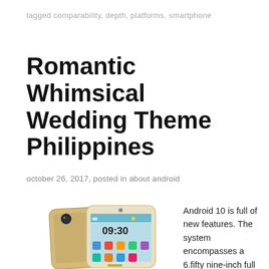tagged comparability, depth, platforms, smartphone
Romantic Whimsical Wedding Theme Philippines
october 26, 2017, posted in about android
[Figure (photo): Two gold/white smartphones shown front and back, one displaying a home screen with time 09:30 and colorful app icons]
Android 10 is full of new features. The system encompasses a 6.fifty nine-inch full HD+ show with a 2340 x 1080 resolution. We